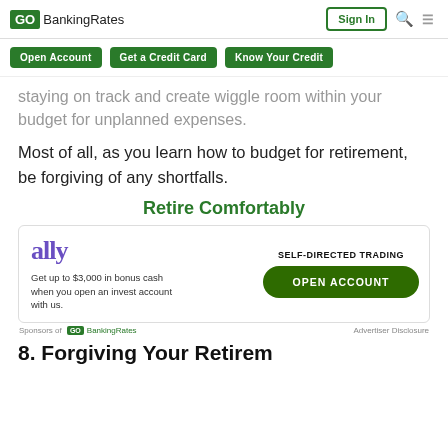GOBankingRates | Sign In
Open Account | Get a Credit Card | Know Your Credit
staying on track and create wiggle room within your budget for unplanned expenses.
Most of all, as you learn how to budget for retirement, be forgiving of any shortfalls.
Retire Comfortably
[Figure (infographic): Ally invest advertisement: ally logo, text 'Get up to $3,000 in bonus cash when you open an invest account with us.', SELF-DIRECTED TRADING label, OPEN ACCOUNT button]
Sponsors of GOBankingRates   Advertiser Disclosure
8. Forgiving Your Retirement Lifestyle